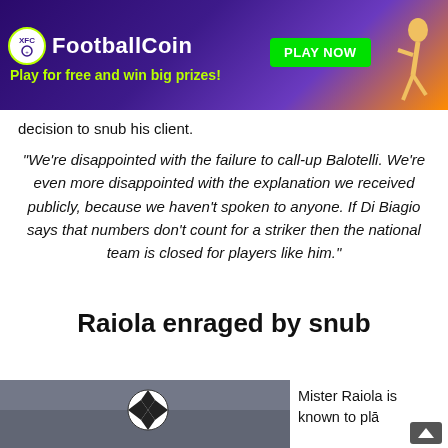[Figure (other): FootballCoin advertisement banner with logo, tagline 'Play for free and win big prizes!', green PLAY NOW button, and sports player image on right]
decision to snub his client.
“We’re disappointed with the failure to call-up Balotelli. We’re even more disappointed with the explanation we received publicly, because we haven’t spoken to anyone. If Di Biagio says that numbers don’t count for a striker then the national team is closed for players like him.”
Raiola enraged by snub
[Figure (photo): Photo of a football in the air with blurred stadium crowd in background]
Mister Raiola is known to plіе by ball...